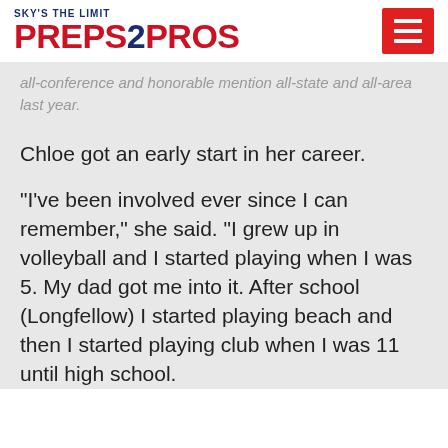Sky's The Limit PREPS2PROS
all-conference and honorable mention all-state and all-area last year.
Chloe got an early start in her career.
"I've been involved ever since I can remember," she said. "I grew up in volleyball and I started playing when I was 5. My dad got me into it. After school (Longfellow) I started playing beach and then I started playing club when I was 11 until high school.